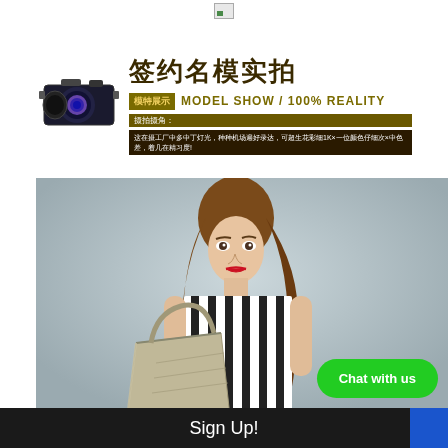[Figure (photo): Broken image icon at top center]
[Figure (illustration): Banner with camera image on left, Chinese text '签约名模实拍' (Contracted model real shooting), MODEL SHOW / 100% REALITY label, shooting description text on dark background]
[Figure (photo): Fashion model with long brown hair, red lipstick, wearing black and white striped sleeveless top, holding a large silver/gold tote handbag, photographed against light gray background]
Chat with us
Sign Up!